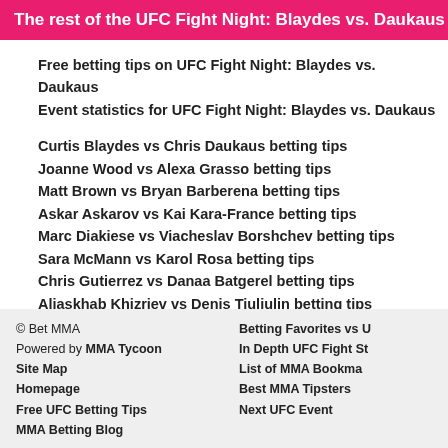The rest of the UFC Fight Night: Blaydes vs. Daukaus car
Free betting tips on UFC Fight Night: Blaydes vs. Daukaus
Event statistics for UFC Fight Night: Blaydes vs. Daukaus
Curtis Blaydes vs Chris Daukaus betting tips
Joanne Wood vs Alexa Grasso betting tips
Matt Brown vs Bryan Barberena betting tips
Askar Askarov vs Kai Kara-France betting tips
Marc Diakiese vs Viacheslav Borshchev betting tips
Sara McMann vs Karol Rosa betting tips
Chris Gutierrez vs Danaa Batgerel betting tips
Aliaskhab Khizriev vs Denis Tiuliulin betting tips
Manon Fiorot vs Jennifer Maia betting tips
Matheus Nicolau vs David Dvorak betting tips
Bruno Souza vs Luis Saldana betting tips
© Bet MMA | Powered by MMA Tycoon | Site Map | Homepage | Free UFC Betting Tips | MMA Betting Blog | Betting Favorites vs U | In Depth UFC Fight St | List of MMA Bookma | Best MMA Tipsters | Next UFC Event